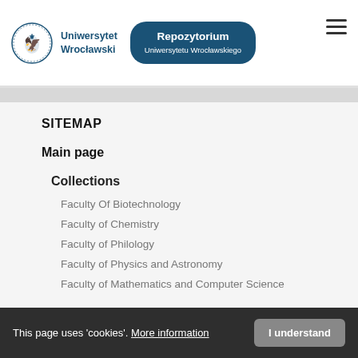[Figure (logo): Uniwersytet Wrocławski logo with crest emblem, university name text, and dark blue Repozytorium Uniwersytetu Wrocławskiego badge button]
SITEMAP
Main page
Collections
Faculty Of Biotechnology
Faculty of Chemistry
Faculty of Philology
Faculty of Physics and Astronomy
Faculty of Mathematics and Computer Science
This page uses 'cookies'. More information  I understand